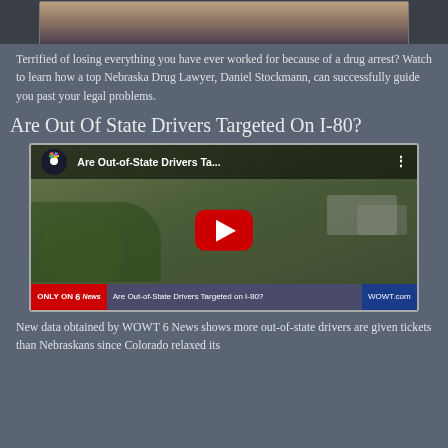[Figure (photo): Partial view of a person near an ornate building, cropped at top of page]
Terrified of losing everything you have ever worked for because of a drug arrest? Watch to learn how a top Nebraska Drug Lawyer, Daniel Stockmann, can successfully guide you past your legal problems.
Are Out Of State Drivers Targeted On I-80?
[Figure (screenshot): YouTube video thumbnail for 'Are Out-of-State Drivers Ta...' from WOWT 6 News, with red play button in center. Bottom bar shows 'ONLY ON 6 News' in red and 'Are Out-of-State Drivers Targeted on I-80?' in gray/blue bar with WOWT.com branding.]
New data obtained by WOWT 6 News shows more out-of-state drivers are given tickets than Nebraskans since Colorado relaxed its